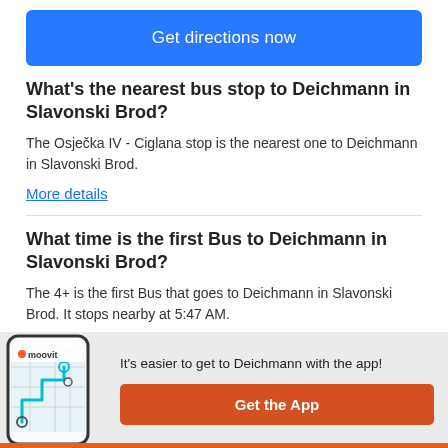[Figure (other): Blue 'Get directions now' button]
What's the nearest bus stop to Deichmann in Slavonski Brod?
The Osječka IV - Ciglana stop is the nearest one to Deichmann in Slavonski Brod.
More details
What time is the first Bus to Deichmann in Slavonski Brod?
The 4+ is the first Bus that goes to Deichmann in Slavonski Brod. It stops nearby at 5:47 AM.
[Figure (screenshot): Moovit app promotional banner with phone illustration and Get the App button]